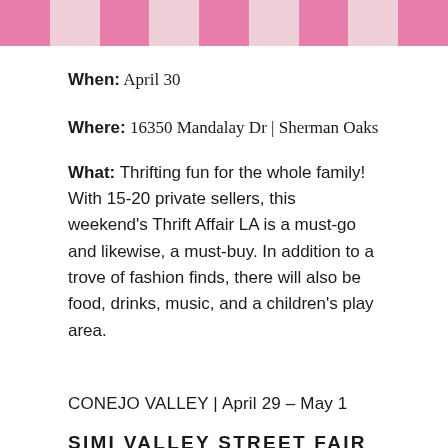[Figure (illustration): Decorative pink and light pink alternating stripe bar at the top of the page]
When: April 30
Where: 16350 Mandalay Dr | Sherman Oaks
What: Thrifting fun for the whole family! With 15-20 private sellers, this weekend's Thrift Affair LA is a must-go and likewise, a must-buy. In addition to a trove of fashion finds, there will also be food, drinks, music, and a children's play area.
CONEJO VALLEY | April 29 – May 1
SIMI VALLEY STREET FAIR
[Figure (photo): Two small photos side by side at the bottom of the page]